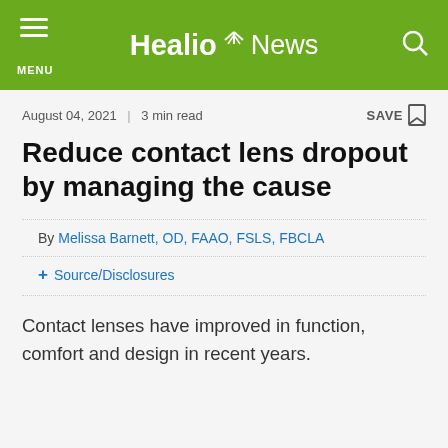Healio News
August 04, 2021  |  3 min read
Reduce contact lens dropout by managing the cause
By Melissa Barnett, OD, FAAO, FSLS, FBCLA
+ Source/Disclosures
Contact lenses have improved in function, comfort and design in recent years.